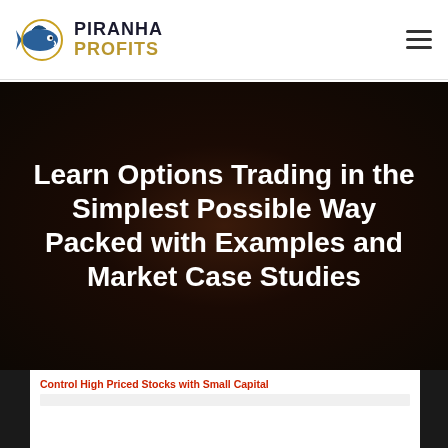[Figure (logo): Piranha Profits logo with fish icon and text PIRANHA PROFITS]
Learn Options Trading in the Simplest Possible Way Packed with Examples and Market Case Studies
[Figure (screenshot): Screenshot of a trading platform showing 'Control High Priced Stocks with Small Capital' with a stock chart interface visible below]